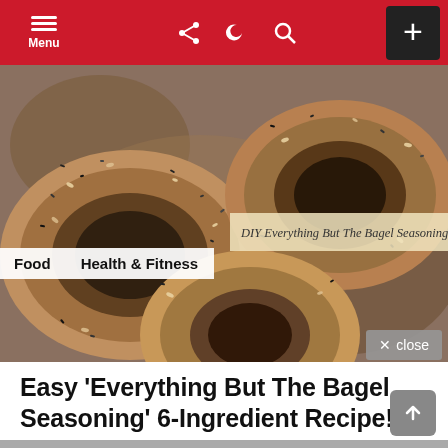Menu
[Figure (photo): Close-up photo of bagels covered in everything bagel seasoning (sesame seeds, poppy seeds, onion flakes, garlic) on a wooden surface. Text overlay reads: DIY Everything But The Bagel Seasoning Recipe]
Food  Health & Fitness
Easy ‘Everything But The Bagel Seasoning’ 6-Ingredient Recipe!